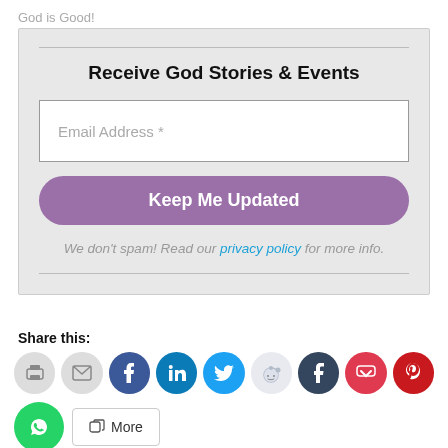God is Good!
Receive God Stories & Events
Email Address *
Keep Me Updated
We don't spam! Read our privacy policy for more info.
Share this:
[Figure (infographic): Row of social share icon circles: print, email, facebook, linkedin, twitter, reddit, tumblr, pocket, pinterest; second row: whatsapp, more button]